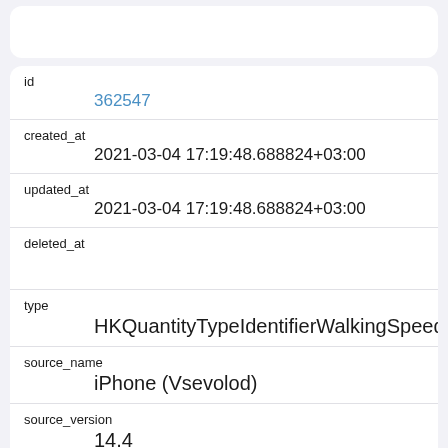| id | 362547 |
| created_at | 2021-03-04 17:19:48.688824+03:00 |
| updated_at | 2021-03-04 17:19:48.688824+03:00 |
| deleted_at |  |
| type | HKQuantityTypeIdentifierWalkingSpeed |
| source_name | iPhone (Vsevolod) |
| source_version | 14.4 |
| unit | km/hr |
| creation_date | 2021-03-04 16:15:58+03:00 |